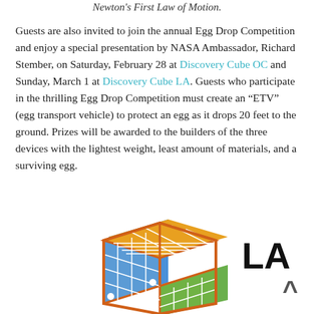Newton's First Law of Motion.
Guests are also invited to join the annual Egg Drop Competition and enjoy a special presentation by NASA Ambassador, Richard Stember, on Saturday, February 28 at Discovery Cube OC and Sunday, March 1 at Discovery Cube LA. Guests who participate in the thrilling Egg Drop Competition must create an “ETV” (egg transport vehicle) to protect an egg as it drops 20 feet to the ground. Prizes will be awarded to the builders of the three devices with the lightest weight, least amount of materials, and a surviving egg.
[Figure (logo): Discovery Cube LA logo showing a colorful cube with grid pattern in orange, blue, and green, with text 'LA' visible]